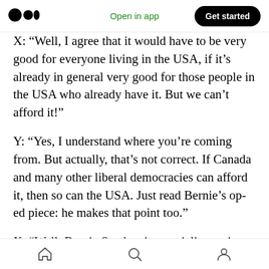Medium logo | Open in app | Get started
X: "Well, I agree that it would have to be very good for everyone living in the USA, if it's already in general very good for those people in the USA who already have it. But we can't afford it!"
Y: “Yes, I understand where you’re coming from. But actually, that’s not correct. If Canada and many other liberal democracies can afford it, then so can the USA. Just read Bernie’s op-ed piece: he makes that point too.”
X: “Well, Bernie Sanders is a socialist, anti-capitalist, and anti-American jerk! And he’s too
Home | Search | Profile